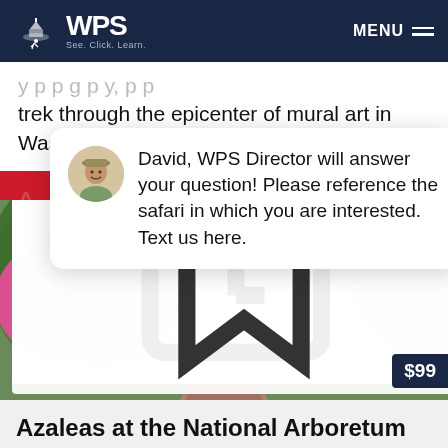WPS — See. Click. Learn. | MENU
trek through the epicenter of mural art in Washington DC, the Shaw neighborhood.
David, WPS Director will answer your question! Please reference the safari in which you are interested. Text us here.
[Figure (photo): Garden photo showing azalea bushes with pink flowers and a brick pathway, with overlaid badges: '2.5 HOURS', 'NEW', 'MORNING SAFARI', and price tag '$99']
Azaleas at the National Arboretum